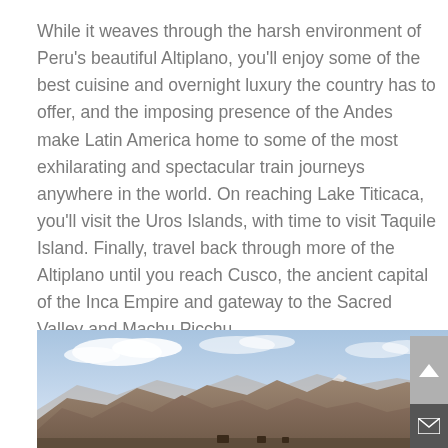While it weaves through the harsh environment of Peru's beautiful Altiplano, you'll enjoy some of the best cuisine and overnight luxury the country has to offer, and the imposing presence of the Andes make Latin America home to some of the most exhilarating and spectacular train journeys anywhere in the world. On reaching Lake Titicaca, you'll visit the Uros Islands, with time to visit Taquile Island. Finally, travel back through more of the Altiplano until you reach Cusco, the ancient capital of the Inca Empire and gateway to the Sacred Valley and Machu Picchu.
[Figure (photo): Mountain landscape photograph showing rugged brown Andean peaks under a partly cloudy blue sky, taken from a low vantage point.]